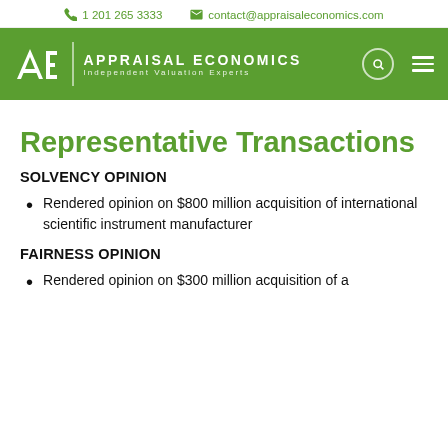1 201 265 3333  contact@appraisaleconomics.com
[Figure (logo): Appraisal Economics logo with stylized AE icon, company name 'Appraisal Economics', tagline 'Independent Valuation Experts', and navigation icons (search, menu) on green background]
Representative Transactions
SOLVENCY OPINION
Rendered opinion on $800 million acquisition of international scientific instrument manufacturer
FAIRNESS OPINION
Rendered opinion on $300 million acquisition of a...